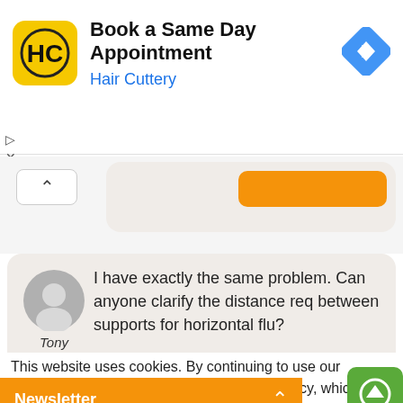[Figure (screenshot): Hair Cuttery advertisement banner with yellow logo, 'Book a Same Day Appointment' heading, 'Hair Cuttery' subtitle in blue, and a blue navigation arrow icon on the right.]
[Figure (screenshot): Forum comment bubble from user 'Tony' with avatar, text 'I have exactly the same problem. Can anyone clarify the distance req between supports for horizontal flu?', and an orange 'reply' button.]
This website uses cookies. By continuing to use our website you agree to our Data Protection Policy, which you c...
Newsletter